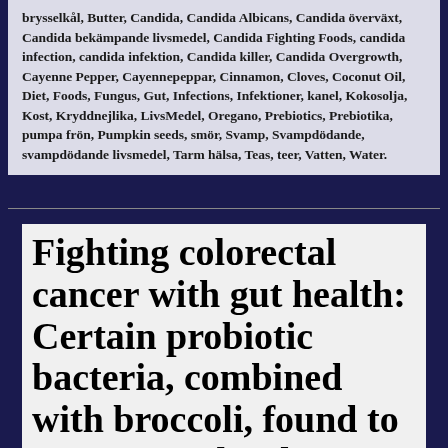brysselkål, Butter, Candida, Candida Albicans, Candida överväxt, Candida bekämpande livsmedel, Candida Fighting Foods, candida infection, candida infektion, Candida killer, Candida Overgrowth, Cayenne Pepper, Cayennepeppar, Cinnamon, Cloves, Coconut Oil, Diet, Foods, Fungus, Gut, Infections, Infektioner, kanel, Kokosolja, Kost, Kryddnejlika, LivsMedel, Oregano, Prebiotics, Prebiotika, pumpa frön, Pumpkin seeds, smör, Svamp, Svampdödande, svampdödande livsmedel, Tarm hälsa, Teas, teer, Vatten, Water.
Fighting colorectal cancer with gut health: Certain probiotic bacteria, combined with broccoli, found to prevent and reduce tumors — NaturalNews.com – Aug